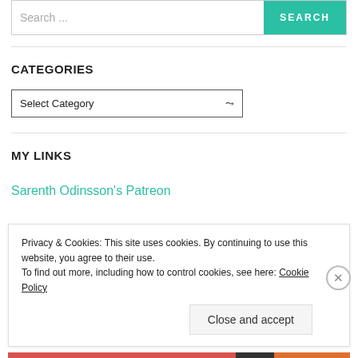[Figure (screenshot): Search bar with placeholder text 'Search ...' and a teal SEARCH button]
CATEGORIES
[Figure (screenshot): Dropdown select box with 'Select Category' and a chevron arrow]
MY LINKS
Sarenth Odinsson's Patreon
Privacy & Cookies: This site uses cookies. By continuing to use this website, you agree to their use.
To find out more, including how to control cookies, see here: Cookie Policy
Close and accept